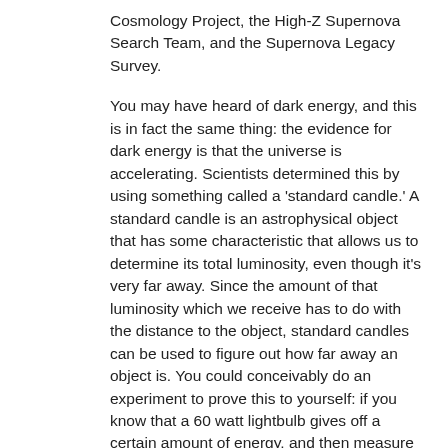Cosmology Project, the High-Z Supernova Search Team, and the Supernova Legacy Survey.
You may have heard of dark energy, and this is in fact the same thing: the evidence for dark energy is that the universe is accelerating. Scientists determined this by using something called a 'standard candle.' A standard candle is an astrophysical object that has some characteristic that allows us to determine its total luminosity, even though it's very far away. Since the amount of that luminosity which we receive has to do with the distance to the object, standard candles can be used to figure out how far away an object is. You could conceivably do an experiment to prove this to yourself: if you know that a 60 watt lightbulb gives off a certain amount of energy, and then measure the energy received from a 60 watt lightbulb across the room from you, you could calculate the distance to that lightbulb.